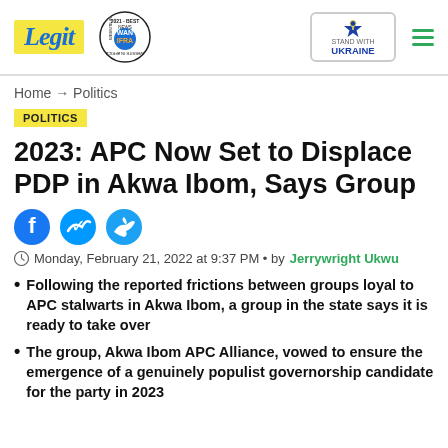Legit | Home → Politics
POLITICS
2023: APC Now Set to Displace PDP in Akwa Ibom, Says Group
Monday, February 21, 2022 at 9:37 PM • by Jerrywright Ukwu
Following the reported frictions between groups loyal to APC stalwarts in Akwa Ibom, a group in the state says it is ready to take over
The group, Akwa Ibom APC Alliance, vowed to ensure the emergence of a genuinely populist governorship candidate for the party in 2023